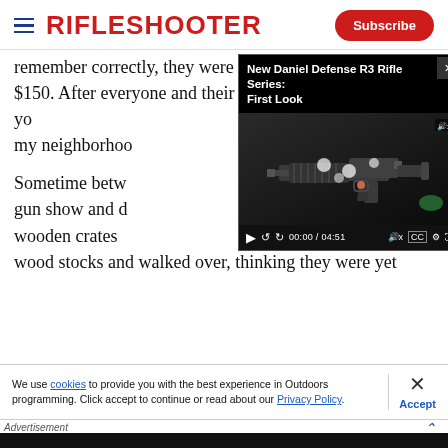RIFLESHOOTER | Subscribe
remember correctly, they were originally priced at about $150. After everyone and their brother had bought two, yo... my neighborhoo...
[Figure (screenshot): Embedded video player showing 'New Daniel Defense R3 Rifle Series: First Look' with an AR-style rifle on a dark background. Controls show 00:00 / 04:51.]
Sometime betw... gun show and d... wooden crates ... wood stocks and walked over, thinking they were yet
We use cookies to provide you with the best experience in Outdoors programming. Click accept to continue or read about our Privacy Policy.
Advertisement
[Figure (photo): Savage Arms advertisement banner: 'THE BEST STORIES START WITH SAVAGE' with logo, dark background with rifle imagery.]